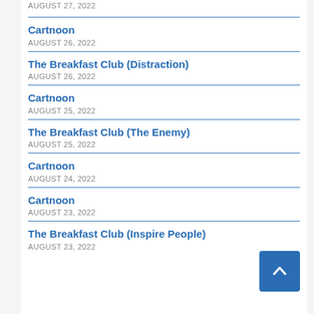AUGUST 27, 2022
Cartnoon
AUGUST 26, 2022
The Breakfast Club (Distraction)
AUGUST 26, 2022
Cartnoon
AUGUST 25, 2022
The Breakfast Club (The Enemy)
AUGUST 25, 2022
Cartnoon
AUGUST 24, 2022
Cartnoon
AUGUST 23, 2022
The Breakfast Club (Inspire People)
AUGUST 23, 2022